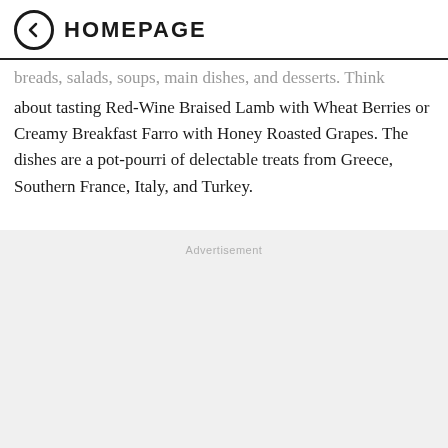HOMEPAGE
breads, salads, soups, main dishes, and desserts. Think about tasting Red-Wine Braised Lamb with Wheat Berries or Creamy Breakfast Farro with Honey Roasted Grapes. The dishes are a pot-pourri of delectable treats from Greece, Southern France, Italy, and Turkey.
Advertisement